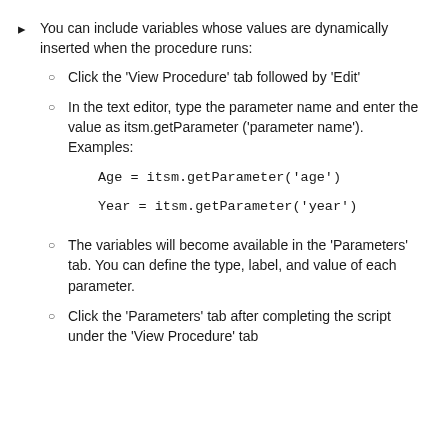You can include variables whose values are dynamically inserted when the procedure runs:
Click the 'View Procedure' tab followed by 'Edit'
In the text editor, type the parameter name and enter the value as itsm.getParameter ('parameter name'). Examples:
Age = itsm.getParameter('age')
Year = itsm.getParameter('year')
The variables will become available in the 'Parameters' tab. You can define the type, label, and value of each parameter.
Click the 'Parameters' tab after completing the script under the 'View Procedure' tab